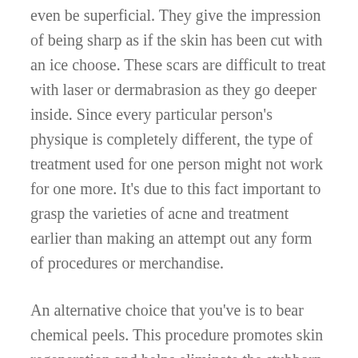even be superficial. They give the impression of being sharp as if the skin has been cut with an ice choose. These scars are difficult to treat with laser or dermabrasion as they go deeper inside. Since every particular person's physique is completely different, the type of treatment used for one person might not work for one more. It's due to this fact important to grasp the varieties of acne and treatment earlier than making an attempt out any form of procedures or merchandise.
An alternative choice that you've is to bear chemical peels. This procedure promotes skin regeneration and helps eliminate the stubborn acne marks. The laser treatment for acne is still within the preliminary stages of growth and additional analysis is ongoing on the matter. With the issue so widespread, researchers are getting duly motivated to additional find the use of laser